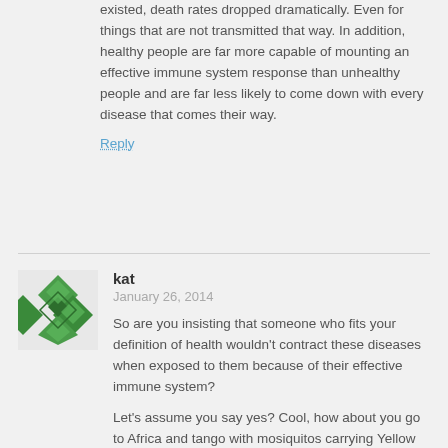existed, death rates dropped dramatically. Even for things that are not transmitted that way. In addition, healthy people are far more capable of mounting an effective immune system response than unhealthy people and are far less likely to come down with every disease that comes their way.
Reply
kat
January 26, 2014
So are you insisting that someone who fits your definition of health wouldn't contract these diseases when exposed to them because of their effective immune system?
Let's assume you say yes? Cool, how about you go to Africa and tango with mosiquitos carrying Yellow Fever(oh, even better, go try out Malaria and let us all know how your amazing immune system protects you).
It seems to me that it's much easier to claim that your immune system will defend against horrible diseases when you live in a developed country where the disease has been kept at bay by vaccinations for...